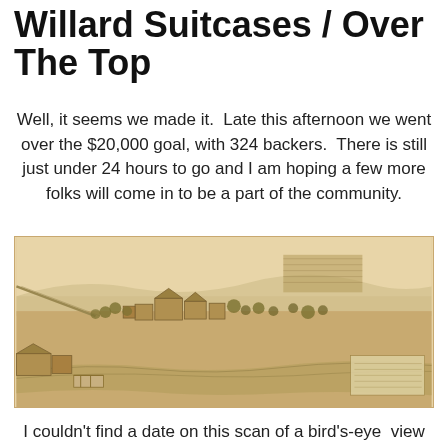Willard Suitcases / Over The Top
Well, it seems we made it.  Late this afternoon we went over the $20,000 goal, with 324 backers.  There is still just under 24 hours to go and I am hoping a few more folks will come in to be a part of the community.
[Figure (illustration): Bird's-eye view illustration of Willard, a panoramic engraving showing buildings, roads, fields, trees, and a river in the foreground, likely late 19th Century style.]
I couldn't find a date on this scan of a bird's-eye view of Willard, but I am guessing late 19th Century.  The main